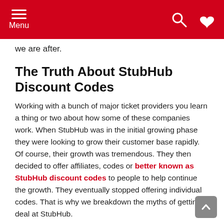Menu
we are after.
The Truth About StubHub Discount Codes
Working with a bunch of major ticket providers you learn a thing or two about how some of these companies work. When StubHub was in the initial growing phase they were looking to grow their customer base rapidly. Of course, their growth was tremendous. They then decided to offer affiliates, codes or better known as StubHub discount codes to people to help continue the growth. They eventually stopped offering individual codes. That is why we breakdown the myths of getting a deal at StubHub.
Hamilton Tour ticket information updated with a new in depth review.
Tired of the hassle of finding the perfect tickets to your favorite musician, sports team, or show? We're here to help. We've compiled information on how to use the best ticket sites out there, along with background information on the sites so you can be assured that you are only spending your money at the safest,